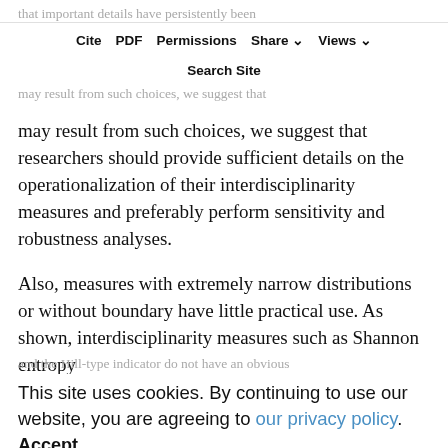that important details have persistently been overlooked in previous studies, for instance, explanations for the choice of cosine formulas (e.g., Porter & Rafols, 2009). Because substantial differences
Cite  PDF  Permissions  Share  Views  Search Site
may result from such choices, we suggest that researchers should provide sufficient details on the operationalization of their interdisciplinarity measures and preferably perform sensitivity and robustness analyses.
Also, measures with extremely narrow distributions or without boundary have little practical use. As shown, interdisciplinarity measures such as Shannon entropy and the Hill-type indicator do not have an obvious common values. Consequently, it is an likely to evaluate to what degree a unit is interdisciplinary according to such measures.
This site uses cookies. By continuing to use our website, you are agreeing to our privacy policy. Accept